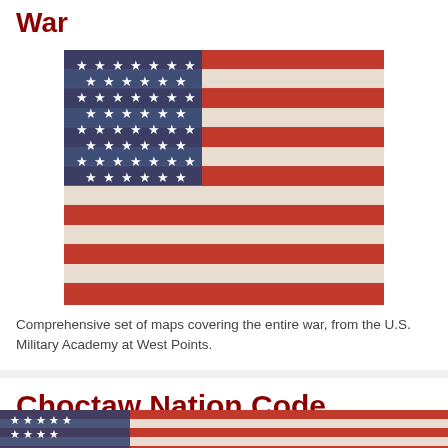War
[Figure (photo): Close-up photograph of an American flag showing stars and red/white stripes]
Comprehensive set of maps covering the entire war, from the U.S. Military Academy at West Points.
http://www.westpoint.edu/history/SitePages/WWI.aspx
Choctaw Nation Code Talkers
[Figure (photo): Close-up photograph of an American flag at the bottom of the page]